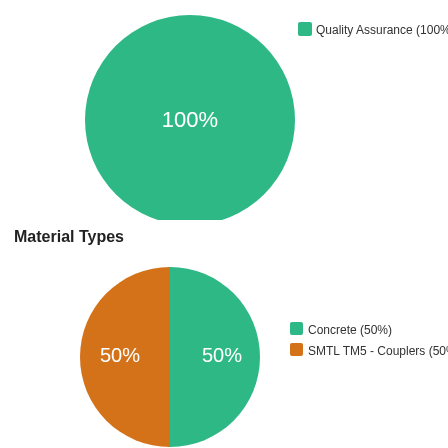[Figure (pie-chart): ]
Material Types
[Figure (pie-chart): Material Types]